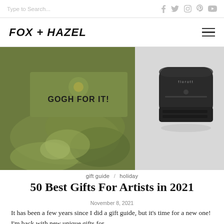Type to Search...
FOX + HAZEL
[Figure (photo): Split image: left side shows olive green fabric/bandana with text 'GOGH FOR IT!' printed on it; right side shows a small black rounded square portable speaker or device with 'florott' text on top.]
gift guide / holiday
50 Best Gifts For Artists in 2021
November 8, 2021
It has been a few years since I did a gift guide, but it's time for a new one! I'm back with new unique gifts for